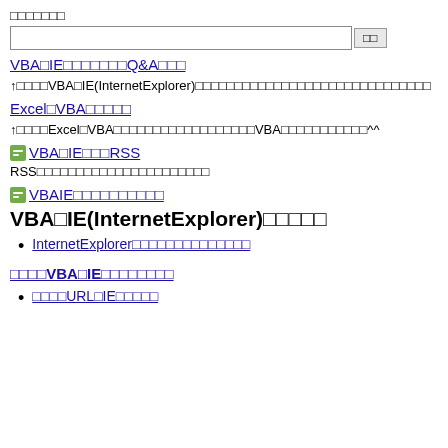□□□□□□□
□□ (search input and button)
VBA□IE□□□□□□□Q&A□□□
↑□□□□VBA□IE(InternetExplorer)□□□□□□□□□□□□□□□□□□□□□□□□□□□□□□
Excel□VBA□□□□□
↑□□□□Excel□VBA□□□□□□□□□□□□□□□□□□VBA□□□□□□□□□□□^^
□VBA□IE□□□RSS
RSS□□□□□□□□□□□□□□□□□□□□□□
□VBAIE□□□□□□□□□□
VBA□IE(InternetExplorer)□□□□□
InternetExplorer□□□□□□□□□□□□□□
□□□□VBA□IE□□□□□□□□
□□□□URL□IE□□□□□